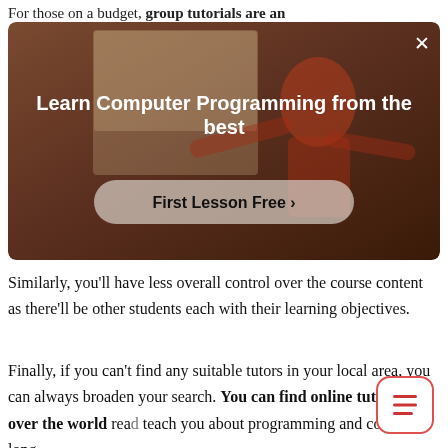For those on a budget, group tutorials are an
[Figure (screenshot): Advertisement banner for computer programming tutoring service. Dark brown background with a person visible. Title: 'Learn Computer Programming from the best'. Button: 'First Lesson Free >' with a close X button in top right corner.]
Similarly, you'll have less overall control over the course content as there'll be other students each with their learning objectives.
Finally, if you can't find any suitable tutors in your local area, you can always broaden your search. You can find online tutors all over the world ready to teach you about programming and coding as long